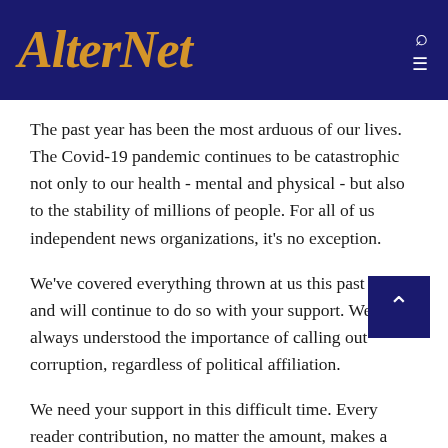AlterNet
The past year has been the most arduous of our lives. The Covid-19 pandemic continues to be catastrophic not only to our health - mental and physical - but also to the stability of millions of people. For all of us independent news organizations, it's no exception.
We've covered everything thrown at us this past year and will continue to do so with your support. We've always understood the importance of calling out corruption, regardless of political affiliation.
We need your support in this difficult time. Every reader contribution, no matter the amount, makes a